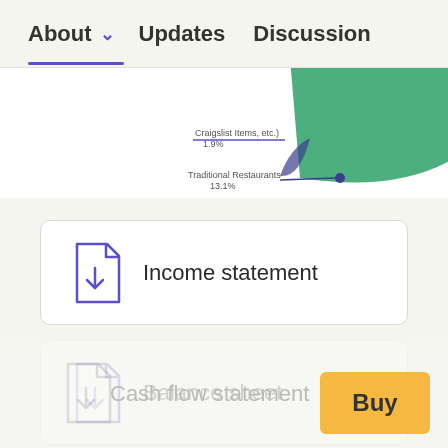About  ∨  Updates  Discussion
[Figure (pie-chart): Partial pie chart visible at top, showing green slice. Labels: 'Craigslist Items, etc.) 1.9%' and 'Traditional Restaurants 13.1%']
Income statement
Balance sheet
Cash flow statement